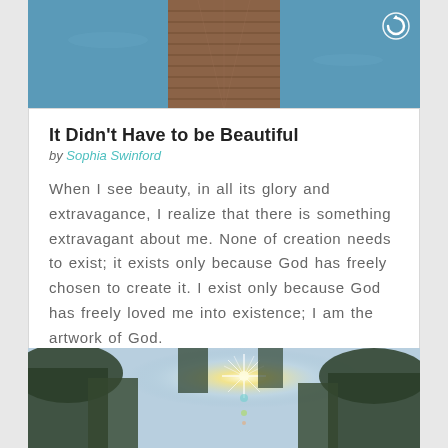[Figure (photo): Wooden dock or boardwalk extending over blue water, viewed from above at an angle]
It Didn't Have to be Beautiful
by Sophia Swinford
When I see beauty, in all its glory and extravagance, I realize that there is something extravagant about me. None of creation needs to exist; it exists only because God has freely chosen to create it. I exist only because God has freely loved me into existence; I am the artwork of God.
[Figure (photo): Looking up through tall pine trees toward a bright sunburst in a blue sky]